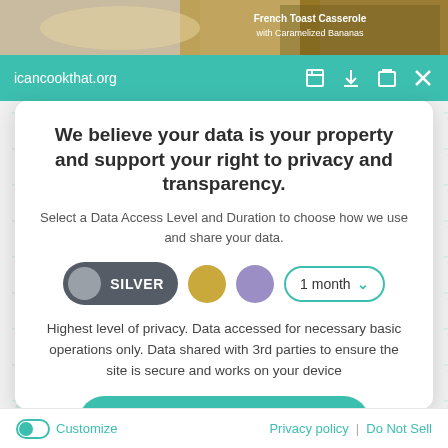[Figure (screenshot): Top strip showing food photograph (French Toast Casserole with Caramelized Bananas) partially visible]
icancookthat.org
We believe your data is your property and support your right to privacy and transparency.
Select a Data Access Level and Duration to choose how we use and share your data.
[Figure (infographic): Controls row with SILVER toggle button (dark gray pill with circle), gold circle, purple circle, and 1 month dropdown]
Highest level of privacy. Data accessed for necessary basic operations only. Data shared with 3rd parties to ensure the site is secure and works on your device
Save my preferences
Customize
Privacy policy | Do Not Sell